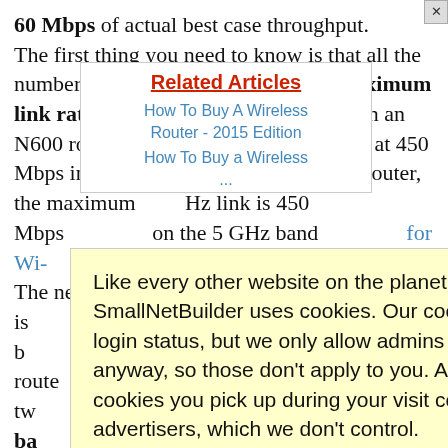60 Mbps of actual best case throughput. The first thing you need to know is that all the numbers above 450 are sums of the maximum link rates of each radio. So each radio in an N600 router maxes out at 300 Mbps and at 450 Mbps in an N900 router. In an AC1750 router, the maximum ... Hz link is 450 Mbps ... on the 5 GHz band ... for Wi- The next t... he N number is... to see reported b... Connection... for Wi- new route... t to your support tw... ters on the ba... #Finding ng in. The 2.4 G... are the
Related Articles
How To Buy A Wireless Router - 2015 Edition
How To Buy a Wireless ...
Like every other website on the planet, SmallNetBuilder uses cookies. Our cookies track login status, but we only allow admins to log in anyway, so those don't apply to you. Any other cookies you pick up during your visit come from advertisers, which we don't control.
If you continue to use the site, you agree to tolerate our use of cookies. Thank you!